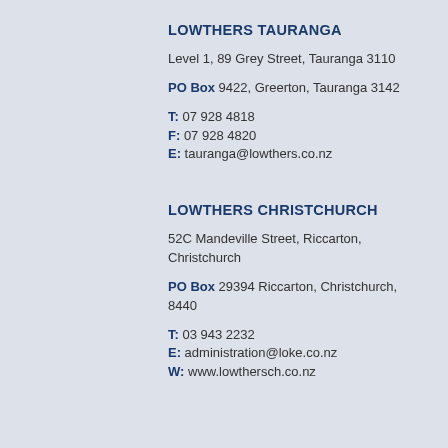LOWTHERS TAURANGA
Level 1, 89 Grey Street, Tauranga 3110
PO Box 9422, Greerton, Tauranga 3142
T: 07 928 4818
F: 07 928 4820
E: tauranga@lowthers.co.nz
LOWTHERS CHRISTCHURCH
52C Mandeville Street, Riccarton, Christchurch
PO Box 29394 Riccarton, Christchurch, 8440
T: 03 943 2232
E: administration@loke.co.nz
W: www.lowthersch.co.nz